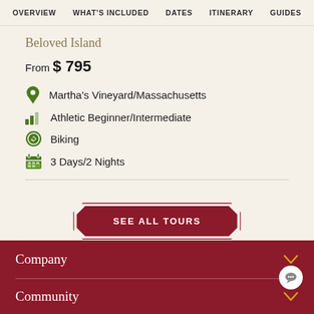OVERVIEW  WHAT'S INCLUDED  DATES  ITINERARY  GUIDES
Beloved Island
From $ 795
Martha's Vineyard/Massachusetts
Athletic Beginner/Intermediate
Biking
3 Days/2 Nights
SEE ALL TOURS
Company
Community